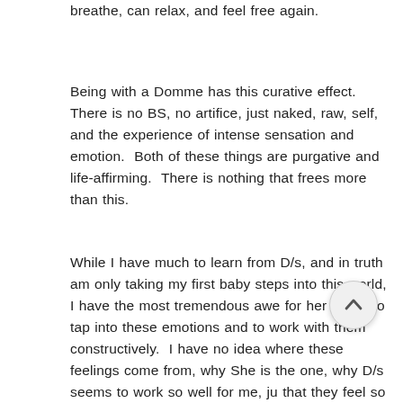breathe, can relax, and feel free again.
Being with a Domme has this curative effect.  There is no BS, no artifice, just naked, raw, self, and the experience of intense sensation and emotion.  Both of these things are purgative and life-affirming.  There is nothing that frees more than this.
While I have much to learn from D/s, and in truth am only taking my first baby steps into this world, I have the most tremendous awe for her ability to tap into these emotions and to work with them constructively.  I have no idea where these feelings come from, why She is the one, why D/s seems to work so well for me, ju that they feel so right.  And oddly, it is that she is a professional that makes her safest to me—her level of experience, her range, her ability to understand, and the simple fact that she can honour her own...